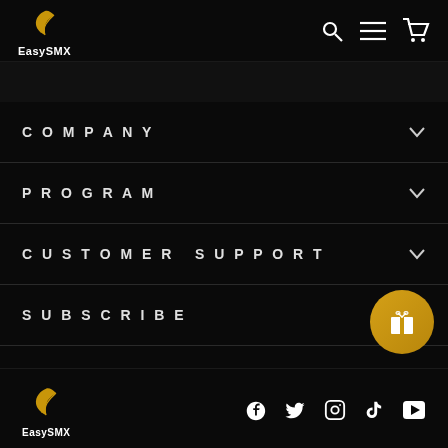EasySMX logo with search, menu, and cart icons
COMPANY
PROGRAM
CUSTOMER SUPPORT
SUBSCRIBE
[Figure (logo): EasySMX golden feather logo with brand name, social media icons: Facebook, Twitter, Instagram, TikTok, YouTube]
EasySMX social icons: Facebook, Twitter, Instagram, TikTok, YouTube